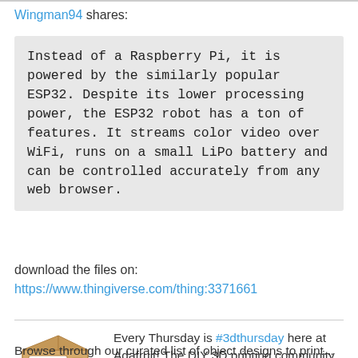Wingman94 shares:
Instead of a Raspberry Pi, it is powered by the similarly popular ESP32. Despite its lower processing power, the ESP32 robot has a ton of features. It streams color video over WiFi, runs on a small LiPo battery and can be controlled accurately from any web browser.
download the files on:
https://www.thingiverse.com/thing:3371661
[Figure (illustration): Cartoon illustration of a 3D printer box with '3D PRINTING' text on it]
Every Thursday is #3dthursday here at Adafruit! The DIY 3D printing community has passion and dedication for making solid objects from digital models.
Browse through our curated list of object designs to print...